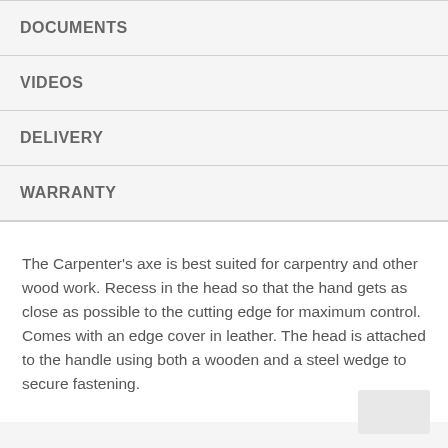DOCUMENTS
VIDEOS
DELIVERY
WARRANTY
The Carpenter's axe is best suited for carpentry and other wood work. Recess in the head so that the hand gets as close as possible to the cutting edge for maximum control. Comes with an edge cover in leather. The head is attached to the handle using both a wooden and a steel wedge to secure fastening.